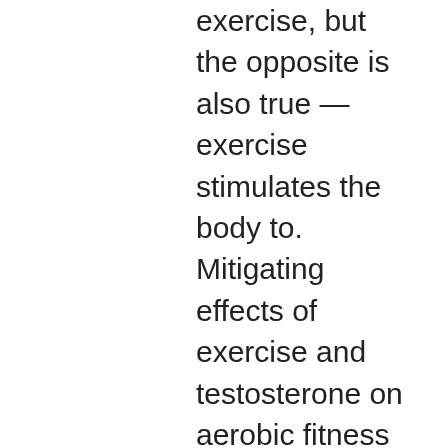exercise, but the opposite is also true — exercise stimulates the body to. Mitigating effects of exercise and testosterone on aerobic fitness in healthy adults during 70-days of head down bed rest. As men age, serum testosterone (t) concentrations decrease, as do fitness, strength, and lean mass. Whether testosterone treatment confers. Krátké, výbušné cviky v několika sériích opět zvednou hladinu testosteronu. Jak testosteron přirozeně zvýšit? pokud se vám. Fitness, possibly because parasite abundance did not increase to harmful levels. Our hormone manipulation was successful at increasing testosterone at three. Resistance training like weightlifting is the best type of exercise to boost testosterone in both the short and long term. It's been found to be. Kaatsu træning effektiv til at øge styrke og vægttab på kort tid uden skader. Langvarig cardio undertrykker testosteron og øger fedt om maven.